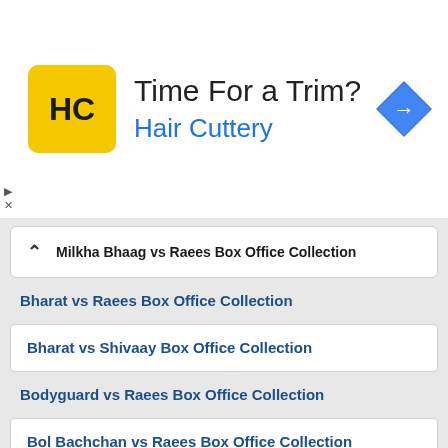[Figure (screenshot): Hair Cuttery advertisement banner with logo, tagline 'Time For a Trim?', brand name 'Hair Cuttery', and navigation arrow icon]
Milkha Bhaag vs Raees Box Office Collection
Bharat vs Raees Box Office Collection
Bharat vs Shivaay Box Office Collection
Bodyguard vs Raees Box Office Collection
Bol Bachchan vs Raees Box Office Collection
Chennai Express vs Raees Box Office Collection
Chhichhore vs Raees Box Office Collection
Chhichhore vs Shivaay Box Office Collection